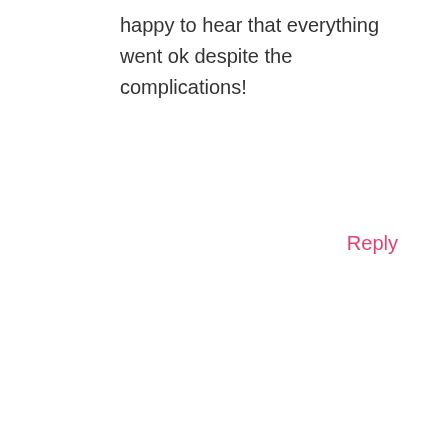happy to hear that everything went ok despite the complications!
Reply
JIJA
AUGUST 22, 2017 AT 8:57 PM
Haha! (the Gifs are funny) Thank you so much Betty, this was so helpful especially knowing how stressful and difficult pregnancy